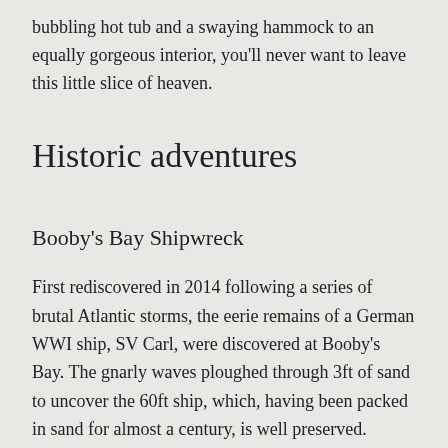bubbling hot tub and a swaying hammock to an equally gorgeous interior, you'll never want to leave this little slice of heaven.
Historic adventures
Booby's Bay Shipwreck
First rediscovered in 2014 following a series of brutal Atlantic storms, the eerie remains of a German WWI ship, SV Carl, were discovered at Booby's Bay. The gnarly waves ploughed through 3ft of sand to uncover the 60ft ship, which, having been packed in sand for almost a century, is well preserved.